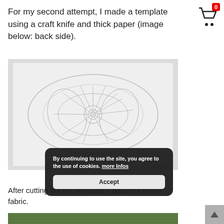For my second attempt, I made a template using a craft knife and thick paper (image below: back side).
[Figure (photo): Photo of a white paper template cut with a craft knife showing intricate floral/mandala pattern, back side visible]
By continuing to use the site, you agree to the use of cookies. more Infos [Accept button]
After cutting out the template, I basted it to the fabric.
[Figure (photo): Partial view of green fabric at bottom of page]